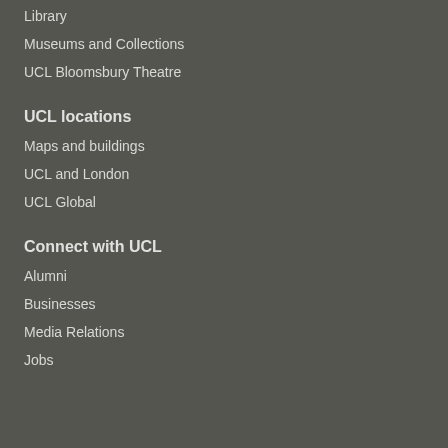Library
Museums and Collections
UCL Bloomsbury Theatre
UCL locations
Maps and buildings
UCL and London
UCL Global
Connect with UCL
Alumni
Businesses
Media Relations
Jobs